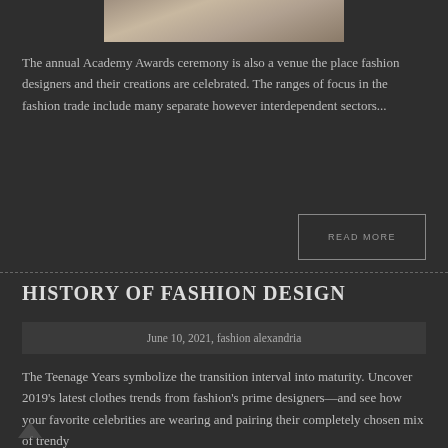[Figure (photo): Cropped photo showing the lower portion of a person in fashion attire, grey background visible]
The annual Academy Awards ceremony is also a venue the place fashion designers and their creations are celebrated. The ranges of focus in the fashion trade include many separate however interdependent sectors...
READ MORE
HISTORY OF FASHION DESIGN
June 10, 2021, fashion alexandria
The Teenage Years symbolize the transition interval into maturity. Uncover 2019's latest clothes trends from fashion's prime designers—and see how your favorite celebrities are wearing and pairing their completely chosen mix of trendy